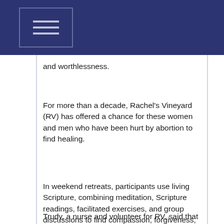and worthlessness.
For more than a decade, Rachel's Vineyard (RV) has offered a chance for these women and men who have been hurt by abortion to find healing.
In weekend retreats, participants use living Scripture, combining meditation, Scripture readings, facilitated exercises, and group discussions to find compassion, forgiveness, and acceptance.
Trudy, a nurse and volunteer for RV, said that the most effective part of the weekend